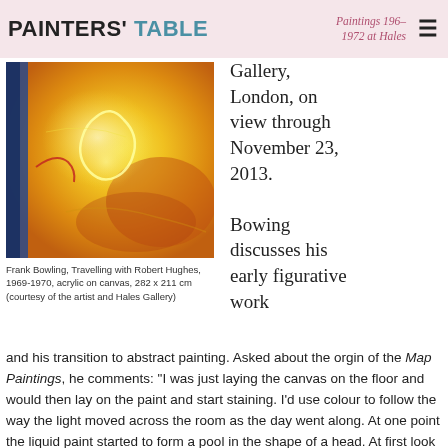PAINTERS' TABLE
Paintings 196– 1972 at Hales Gallery, London, on view through November 23, 2013.
[Figure (photo): Abstract painting with vivid yellow, orange, and blue hues — Frank Bowling, Travelling with Robert Hughes, 1969-1970]
Frank Bowling, Travelling with Robert Hughes, 1969-1970, acrylic on canvas, 282 x 211 cm (courtesy of the artist and Hales Gallery)
Bowing discusses his early figurative work and his transition to abstract painting. Asked about the orgin of the Map Paintings, he comments: "I was just laying the canvas on the floor and would then lay on the paint and start staining. I'd use colour to follow the way the light moved across the room as the day went along. At one point the liquid paint started to form a pool in the shape of a head. At first look it seemed like a caricature of General de Gaule